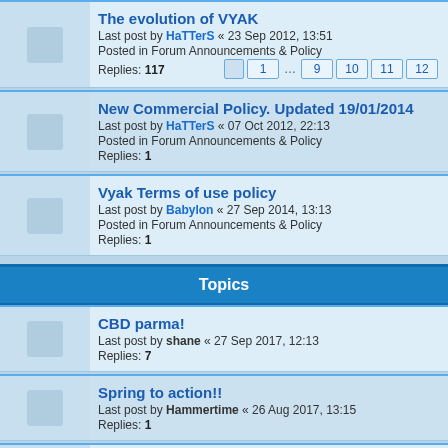The evolution of VYAK
Last post by HaTTerS « 23 Sep 2012, 13:51
Posted in Forum Announcements & Policy
Replies: 117
New Commercial Policy. Updated 19/01/2014
Last post by HaTTerS « 07 Oct 2012, 22:13
Posted in Forum Announcements & Policy
Replies: 1
Vyak Terms of use policy
Last post by Babylon « 27 Sep 2014, 13:13
Posted in Forum Announcements & Policy
Replies: 1
Topics
CBD parma!
Last post by shane « 27 Sep 2017, 12:13
Replies: 7
Spring to action!!
Last post by Hammertime « 26 Aug 2017, 13:15
Replies: 1
Mid Winter Lunch
Last post by shane « 12 Jul 2017, 13:53
Replies: 8
Spring has sprung so come for lunch!
Last post by shane « 22 Sep 2016, 12:27
Replies: 21
Mornington peninsula lunch